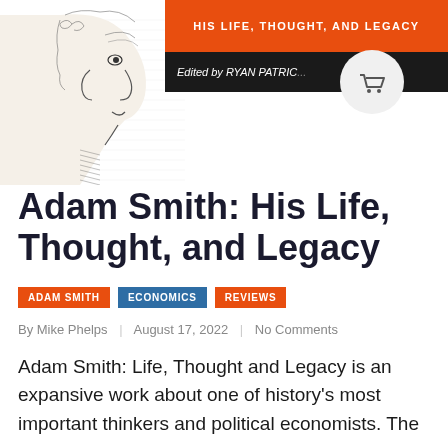[Figure (illustration): Book cover showing an engraved portrait of Adam Smith in profile facing left, with an orange banner reading 'HIS LIFE, THOUGHT, AND LEGACY' and a black banner reading 'Edited by RYAN PATRIC...' A shopping cart circle icon overlaps the top right.]
Adam Smith: His Life, Thought, and Legacy
ADAM SMITH | ECONOMICS | REVIEWS
By Mike Phelps | August 17, 2022 | No Comments
Adam Smith: Life, Thought and Legacy is an expansive work about one of history's most important thinkers and political economists. The